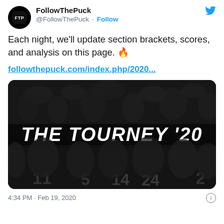FollowThePuck @FollowThePuck · Follow
Each night, we'll update section brackets, scores, and analysis on this page. 🔥
followthepuck.com/index.php/2020...
[Figure (photo): Dark promotional image with faded hockey team photo in background and bold italic white text reading 'THE TOURNEY '20' in the center]
4:34 PM · Feb 19, 2020